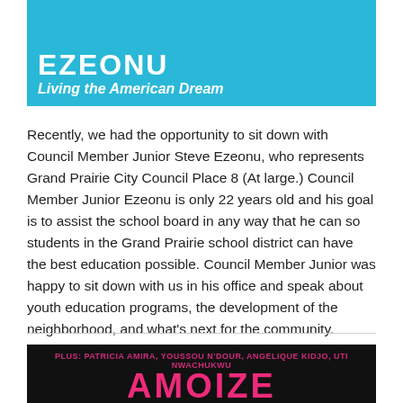[Figure (photo): Header image with cyan/turquoise background showing partial text 'EZEONU' and subtitle 'Living the American Dream' in white bold text]
Recently, we had the opportunity to sit down with Council Member Junior Steve Ezeonu, who represents Grand Prairie City Council Place 8 (At large.) Council Member Junior Ezeonu is only 22 years old and his goal is to assist the school board in any way that he can so students in the Grand Prairie school district can have the best education possible. Council Member Junior was happy to sit down with us in his office and speak about youth education programs, the development of the neighborhood, and what's next for the community.
Click here to read the interview
[Figure (photo): Bottom magazine image with black background showing text 'PLUS: PATRICIA AMIRA, YOUSSOU N'DOUR, ANGELIQUE KIDJO, UTI NWACHUKWU' in pink and large pink text 'AMOIRE' or similar magazine title]